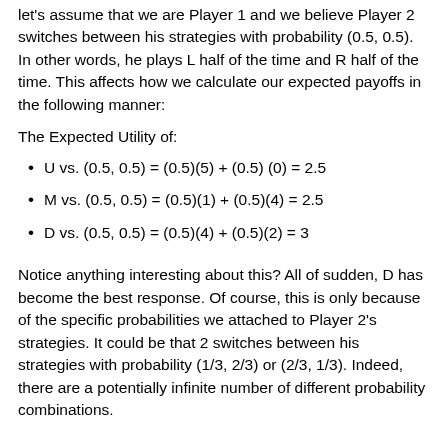let's assume that we are Player 1 and we believe Player 2 switches between his strategies with probability (0.5, 0.5). In other words, he plays L half of the time and R half of the time. This affects how we calculate our expected payoffs in the following manner:
The Expected Utility of:
U vs. (0.5, 0.5) = (0.5)(5) + (0.5) (0) = 2.5
M vs. (0.5, 0.5) = (0.5)(1) + (0.5)(4) = 2.5
D vs. (0.5, 0.5) = (0.5)(4) + (0.5)(2) = 3
Notice anything interesting about this? All of sudden, D has become the best response. Of course, this is only because of the specific probabilities we attached to Player 2's strategies. It could be that 2 switches between his strategies with probability (1/3, 2/3) or (2/3, 1/3). Indeed, there are a potentially infinite number of different probability combinations.